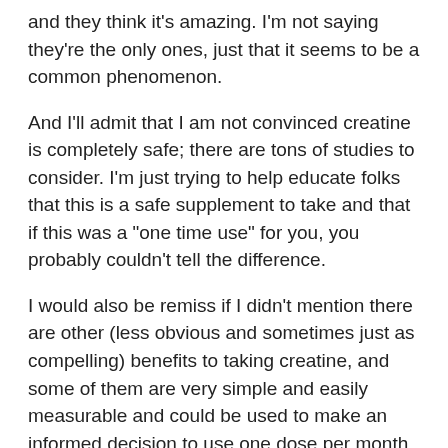and they think it's amazing. I'm not saying they're the only ones, just that it seems to be a common phenomenon.
And I'll admit that I am not convinced creatine is completely safe; there are tons of studies to consider. I'm just trying to help educate folks that this is a safe supplement to take and that if this was a "one time use" for you, you probably couldn't tell the difference.
I would also be remiss if I didn't mention there are other (less obvious and sometimes just as compelling) benefits to taking creatine, and some of them are very simple and easily measurable and could be used to make an informed decision to use one dose per month. But I can only focus on how it actually does for the body and how it improves recovery.